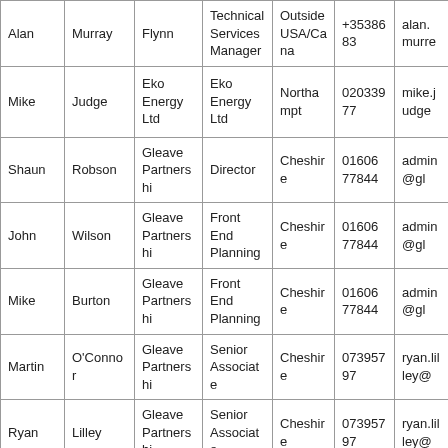| Alan | Murray | Flynn | Technical Services Manager | Outside USA/Cana | +3538683 | alan.murre |
| Mike | Judge | Eko Energy Ltd | Eko Energy Ltd | Northampt | 02033977 | mike.judge |
| Shaun | Robson | Gleave Partnershi | Director | Cheshire | 01606 77844 | admin@gl |
| John | Wilson | Gleave Partnershi | Front End Planning | Cheshire | 01606 77844 | admin@gl |
| Mike | Burton | Gleave Partnershi | Front End Planning | Cheshire | 01606 77844 | admin@gl |
| Martin | O'Connor | Gleave Partnershi | Senior Associate | Cheshire | 07395797 | ryan.lilley@ |
| Ryan | Lilley | Gleave Partnershi | Senior Associate | Cheshire | 07395797 | ryan.lilley@ |
| Minou | Van Nooijen | C&D EMEA | Regional Sales Manager Europe | Northampt | +4475454 | minou.van |
|  |  |  | European |  |  |  |